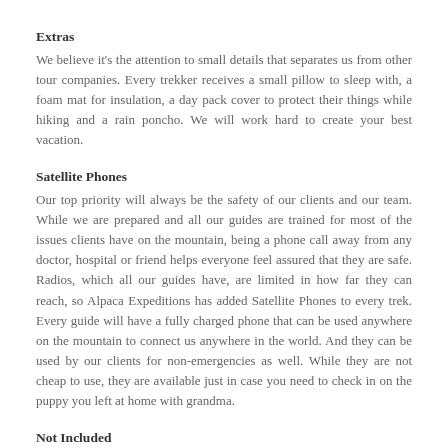Extras
We believe it’s the attention to small details that separates us from other tour companies. Every trekker receives a small pillow to sleep with, a foam mat for insulation, a day pack cover to protect their things while hiking and a rain poncho. We will work hard to create your best vacation.
Satellite Phones
Our top priority will always be the safety of our clients and our team. While we are prepared and all our guides are trained for most of the issues clients have on the mountain, being a phone call away from any doctor, hospital or friend helps everyone feel assured that they are safe. Radios, which all our guides have, are limited in how far they can reach, so Alpaca Expeditions has added Satellite Phones to every trek. Every guide will have a fully charged phone that can be used anywhere on the mountain to connect us anywhere in the world. And they can be used by our clients for non-emergencies as well. While they are not cheap to use, they are available just in case you need to check in on the puppy you left at home with grandma.
Not Included